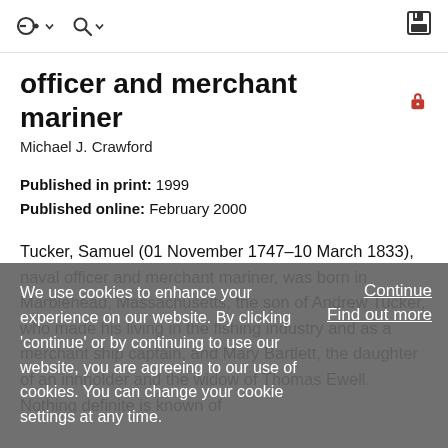officer and merchant mariner
Michael J. Crawford
Published in print: 1999
Published online: February 2000
Tucker, Samuel (01 November 1747–10 March 1833), naval officer and merchant mariner, was born in Marblehead, Massachusetts, the son of Andrew Tucker, who made his living in the fishing industry and as a merchant ship captain, and Mary Bartlett, the daughter of an innholder and the widow of Thomas Ewell. Nothing definite is known of
We use cookies to enhance your experience on our website. By clicking 'continue' or by continuing to use our website, you are agreeing to our use of cookies. You can change your cookie settings at any time.